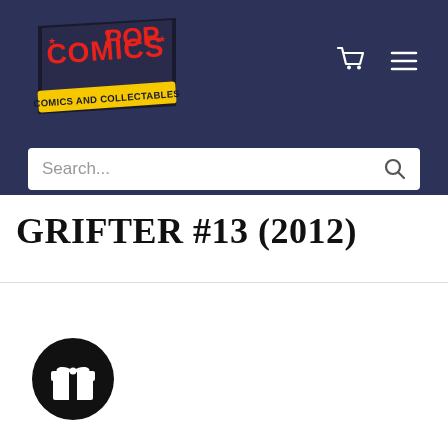Comics and Pop - Comics and Collectables
GRIFTER #13 (2012)
[Figure (illustration): Gift/loyalty rewards circular button icon with a gift box symbol on a black circle background, positioned bottom-left of the content area]